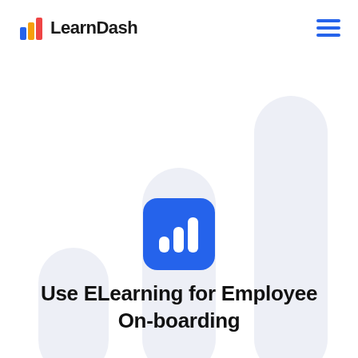LearnDash
[Figure (logo): LearnDash logo with bar chart icon and text]
[Figure (illustration): Three large rounded pill/bar shapes in light lavender-gray arranged as a bar chart background decoration, plus a blue rounded square icon with a white bar chart symbol in the center]
Use ELearning for Employee On-boarding